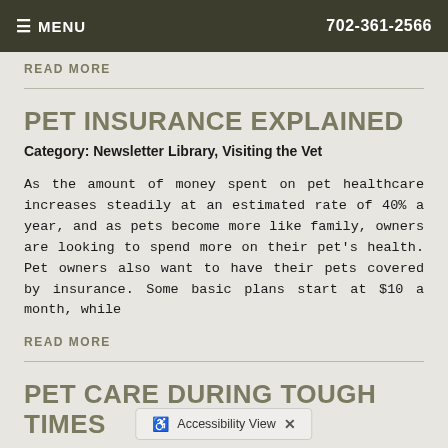≡ MENU  702-361-2566
READ MORE
PET INSURANCE EXPLAINED
Category: Newsletter Library, Visiting the Vet
As the amount of money spent on pet healthcare increases steadily at an estimated rate of 40% a year, and as pets become more like family, owners are looking to spend more on their pet's health. Pet owners also want to have their pets covered by insurance. Some basic plans start at $10 a month, while
READ MORE
PET CARE DURING TOUGH TIMES
Category: Newsletter Library, Visiting the Vet
Studies have repeatedly shown that a large majority of pet